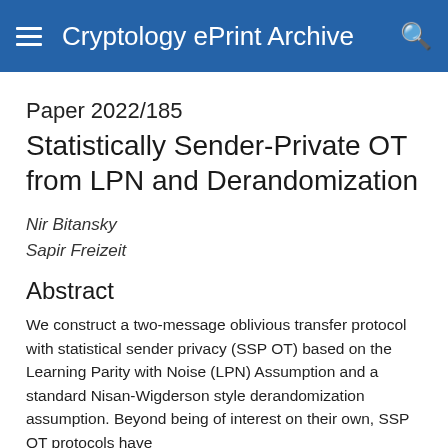Cryptology ePrint Archive
Paper 2022/185
Statistically Sender-Private OT from LPN and Derandomization
Nir Bitansky
Sapir Freizeit
Abstract
We construct a two-message oblivious transfer protocol with statistical sender privacy (SSP OT) based on the Learning Parity with Noise (LPN) Assumption and a standard Nisan-Wigderson style derandomization assumption. Beyond being of interest on their own, SSP OT protocols have